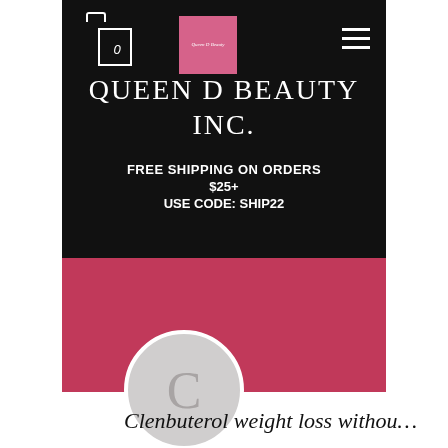[Figure (screenshot): Screenshot of Queen D Beauty Inc. website/app showing black header with logo, navigation, brand name, promotional offer, and pink profile section with Message and Follow buttons and a profile avatar with letter C]
QUEEN D BEAUTY INC.
FREE SHIPPING ON ORDERS $25+ USE CODE: SHIP22
Message
Follow
Clenbuterol weight loss withou…